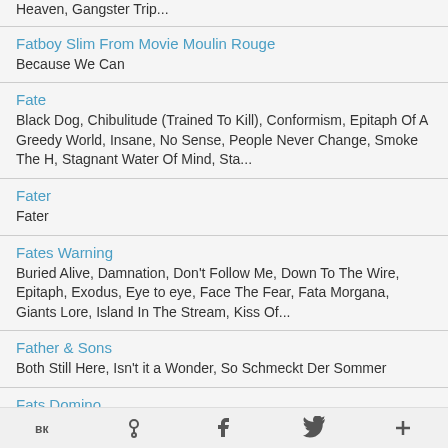Heaven, Gangster Trip...
Fatboy Slim From Movie Moulin Rouge
Because We Can
Fate
Black Dog, Chibulitude (Trained To Kill), Conformism, Epitaph Of A Greedy World, Insane, No Sense, People Never Change, Smoke The H, Stagnant Water Of Mind, Sta...
Fater
Fater
Fates Warning
Buried Alive, Damnation, Don't Follow Me, Down To The Wire, Epitaph, Exodus, Eye to eye, Face The Fear, Fata Morgana, Giants Lore, Island In The Stream, Kiss Of...
Father & Sons
Both Still Here, Isn't it a Wonder, So Schmeckt Der Sommer
Fats Domino
Blue Monday, I Want to Walk You Home, Kansas City, Aint That a Shame, Blueberry Hill, Im Walkin, Ain't That A Shame, All By Myself...
VK | OK | f | Twitter | +